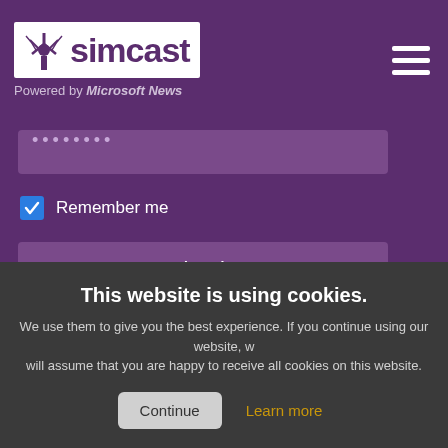[Figure (logo): Simcast logo with antenna icon and text 'simcast' on white background, with purple header. Powered by Microsoft News subtitle. Hamburger menu icon top right.]
[Figure (screenshot): Password input field with dots, Remember me checkbox (checked), Sign-in button, Forgot password link on purple background]
This website is using cookies. We use them to give you the best experience. If you continue using our website, we will assume that you are happy to receive all cookies on this website.
Continue
Learn more
Lifestyle
Money
News
Sports